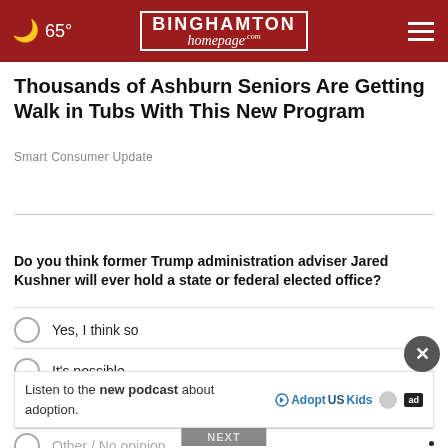65° Binghamton Homepage
Thousands of Ashburn Seniors Are Getting Walk in Tubs With This New Program
Smart Consumer Update
WHAT DO YOU THINK?
Do you think former Trump administration adviser Jared Kushner will ever hold a state or federal elected office?
Yes, I think so
It's possible
No, I don't think so
Other / No opinion
Listen to the new podcast about adoption.